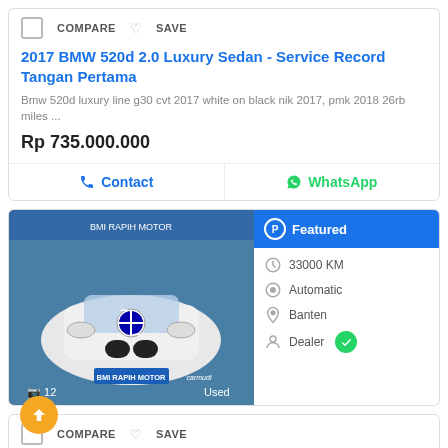COMPARE SAVE
2017 BMW 520d 2.0 Luxury Sedan - Service Record Tangan Pertama
Bmw 520d luxury line g30 cvt 2017 white on black nik 2017, pmk 2018 26rb miles ...
Rp 735.000.000
Contact  WhatsApp
[Figure (photo): White BMW car front view inside a showroom, with BMI RAPIH MOTOR branding and carmudi logo. Photo count: 12. Badge: Used.]
Featured
33000 KM
Automatic
Banten
Dealer
COMPARE SAVE
2020 BMW 320i 2.0 Sport Sedan - G20 th Like New
Please wa sesuai no hp di aplikasi untuk fast response (24 jam)